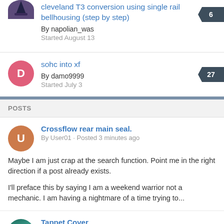cleveland T3 conversion using single rail bellhousing (step by step)
By napolian_was
Started August 13
Replies: 6
sohc into xf
By damo9999
Started July 3
Replies: 27
POSTS
Crossflow rear main seal.
By User01 · Posted 3 minutes ago
Maybe I am just crap at the search function. Point me in the right direction if a post already exists.

I'll preface this by saying I am a weekend warrior not a mechanic. I am having a nightmare of a time trying to...
Tappet Cover
By jamie247 · Posted Tuesday at 06:39 AM
Yeah i thought that was the case, might try and case a good